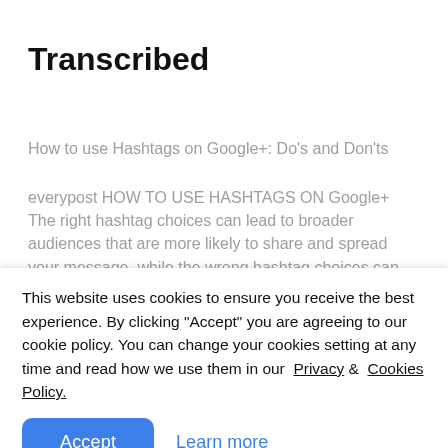Transcribed
How to use Hashtags on Google+: Do's and Don'ts
everypost HOW TO USE HASHTAGS ON Google+ The right hashtag choices can lead to broader audiences that are more likely to share and spread your message, while the wrong hashtag choices can
This website uses cookies to ensure you receive the best experience. By clicking "Accept" you are agreeing to our cookie policy. You can change your cookies setting at any time and read how we use them in our Privacy & Cookies Policy.
Accept
Learn more